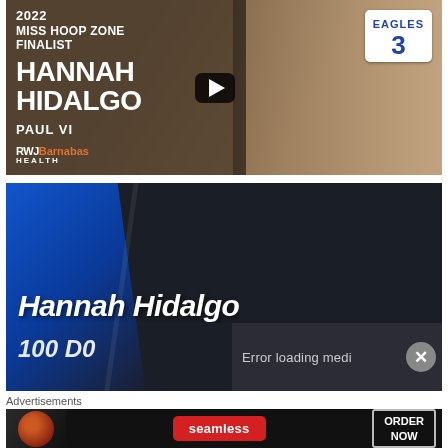[Figure (screenshot): Video thumbnail showing 2022 Miss Hoop Zone Finalist Hannah Hidalgo from Paul VI, wearing Eagles #3 jersey, with RWJBarnabas Health sponsorship logo and a YouTube play button overlay]
[Figure (screenshot): Dark-themed sports broadcast graphic showing Hannah Hidalgo in italic white bold text, with a blue diagonal stripe design and an 'Error loading media' overlay with close button]
Advertisements
[Figure (screenshot): Seamless food delivery advertisement banner showing pizza image on left, Seamless red logo in center, and ORDER NOW button on right]